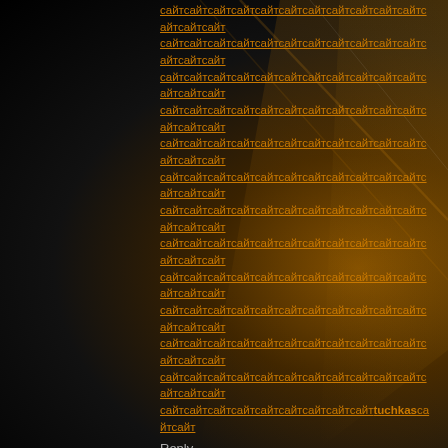сайтсайтсайтсайтсайтсайтсайтсайтсайтсайтсайтсайтсайтсайт (repeated spam link lines ending with tuchkasсайтсайт)
Reply
vrool · 1 year, 11 months ago
50.6
Reply
vrool · 1 year, 11 months ago
Unit
Reply
vrool · 1 year, 11 months ago
Girl
Reply